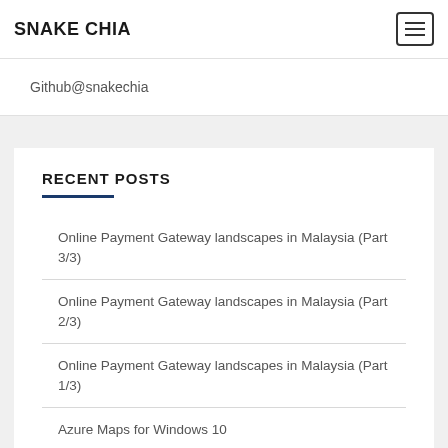SNAKE CHIA
Github@snakechia
RECENT POSTS
Online Payment Gateway landscapes in Malaysia (Part 3/3)
Online Payment Gateway landscapes in Malaysia (Part 2/3)
Online Payment Gateway landscapes in Malaysia (Part 1/3)
Azure Maps for Windows 10